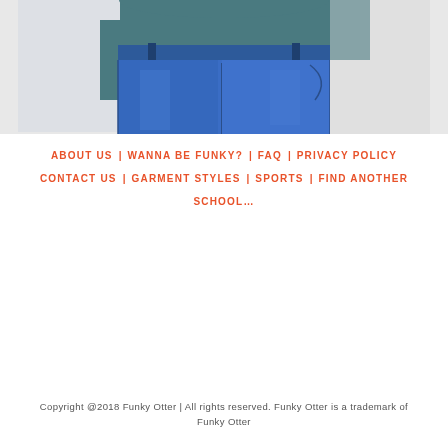[Figure (photo): Cropped photo of a person wearing blue denim jeans and a teal/dark teal top, showing torso and legs from waist down, against a light grey background.]
ABOUT US    WANNA BE FUNKY?    FAQ    PRIVACY POLICY    CONTACT US    GARMENT STYLES    SPORTS    FIND ANOTHER SCHOOL…
Copyright @2018 Funky Otter | All rights reserved. Funky Otter is a trademark of Funky Otter